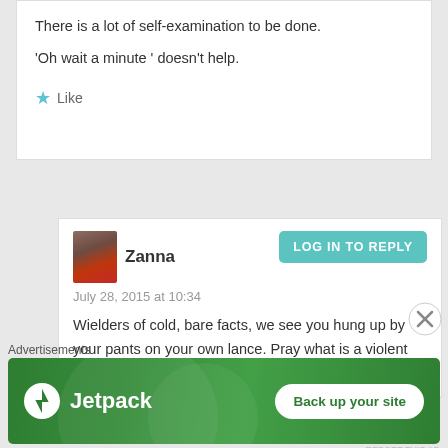There is a lot of self-examination to be done.
'Oh wait a minute ' doesn't help.
★ Like
Zanna
LOG IN TO REPLY
July 28, 2015 at 10:34
Wielders of cold, bare facts, we see you hung up by your pants on your own lance. Pray what is a violent act? What is a minute? What is a word?
Advertisements
[Figure (logo): Jetpack advertisement banner with logo and 'Back up your site' button on green background]